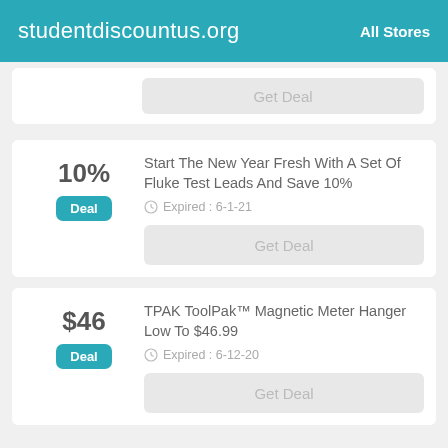studentdiscountus.org   All Stores
[Figure (screenshot): Partial deal card showing a button with 'Get Deal' text, partially visible at top]
10%
Start The New Year Fresh With A Set Of Fluke Test Leads And Save 10%
Expired : 6-1-21
Get Deal
$46
TPAK ToolPak™ Magnetic Meter Hanger Low To $46.99
Expired : 6-12-20
Get Deal